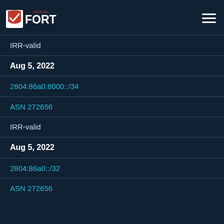[Figure (logo): FORT monitoreo logo with red check mark on white shield]
IRR-valid
Aug 5, 2022
2804:86a0:8000::/34
ASN 272656
IRR-valid
Aug 5, 2022
2804:86a0::/32
ASN 272656